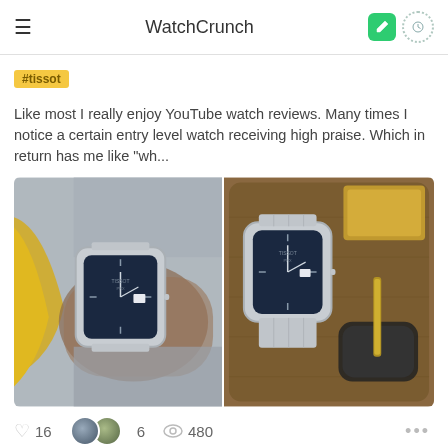WatchCrunch
#tissot
Like most I really enjoy YouTube watch reviews. Many times I notice a certain entry level watch receiving high praise. Which in return has me like "wh...
[Figure (photo): Two photos of a Tissot PRX watch with blue dial and silver bracelet: left photo shows watch on wrist with yellow sleeve visible, right photo shows watch laid flat on a wooden tray with accessories.]
16   6   480